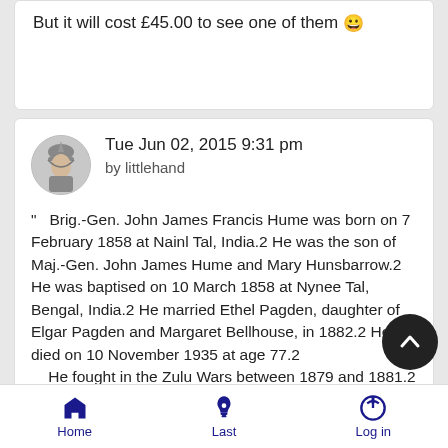But it will cost £45.00 to see one of them 😀
Tue Jun 02, 2015 9:31 pm
by littlehand
" Brig.-Gen. John James Francis Hume was born on 7 February 1858 at Nainl Tal, India.2 He was the son of Maj.-Gen. John James Hume and Mary Hunsbarrow.2 He was baptised on 10 March 1858 at Nynee Tal, Bengal, India.2 He married Ethel Pagden, daughter of Elgar Pagden and Margaret Bellhouse, in 1882.2 He died on 10 November 1935 at age 77.2
    He fought in the Zulu Wars between 1879 and 1881.2 He fought in the First Boer War between 1880 and 1881, where he was ganderously wounded and was mentioned in despatches. He was Officer in Charge of the Welsh Border Infantry Brigade 1910.2 He gained the rank of Brigadier-General in 1914.2 He
Home   Last   Log in